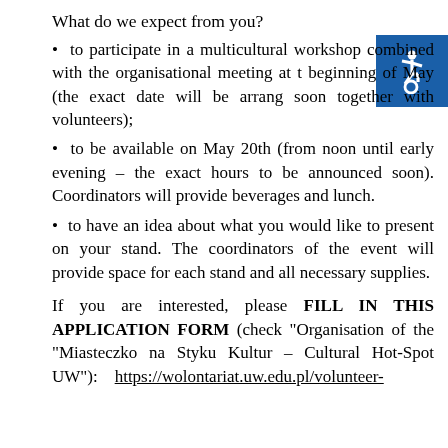What do we expect from you?
to participate in a multicultural workshop combined with the organisational meeting at the beginning of May (the exact date will be arranged soon together with volunteers);
to be available on May 20th (from noon until early evening – the exact hours to be announced soon). Coordinators will provide beverages and lunch.
to have an idea about what you would like to present on your stand. The coordinators of the event will provide space for each stand and all necessary supplies.
If you are interested, please FILL IN THIS APPLICATION FORM (check "Organisation of the "Miasteczko na Styku Kultur – Cultural Hot-Spot UW"): https://wolontariat.uw.edu.pl/volunteer-
[Figure (illustration): Accessibility wheelchair icon in blue square, top right corner]